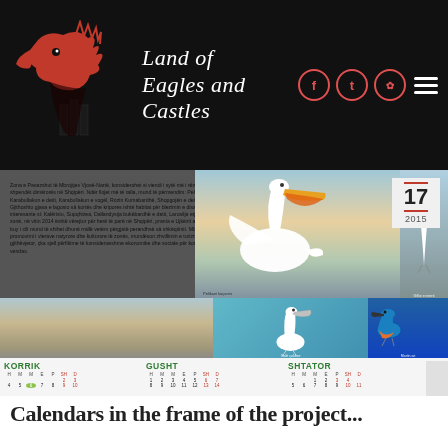[Figure (logo): Land of Eagles and Castles website header with red eagle logo, site title in italic white text, social media icons (Facebook, Twitter, Dribbble) in red circles, and hamburger menu]
[Figure (photo): Calendar page showing Albanian birds (pelican, egret, kingfisher) and nature text in Albanian with date badge showing 17 / 2015, and monthly calendar grid for KORRIK, GUSHT, SHTATOR]
Calendars in the frame of the project...